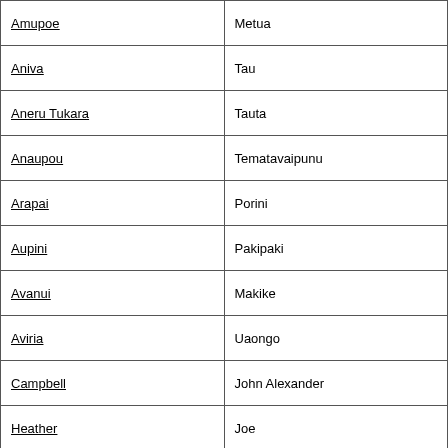| Last Name | First Name |
| --- | --- |
| Amupoe | Metua |
| Aniva | Tau |
| Aneru Tukara | Tauta |
| Anaupou | Tematavaipunu |
| Arapai | Porini |
| Aupini | Pakipaki |
| Avanui | Makike |
| Aviria | Uaongo |
| Campbell | John Alexander |
| Heather | Joe |
| Here Manate | Teinaki |
| Iaveta | Mai |
| Imene | Ngature |